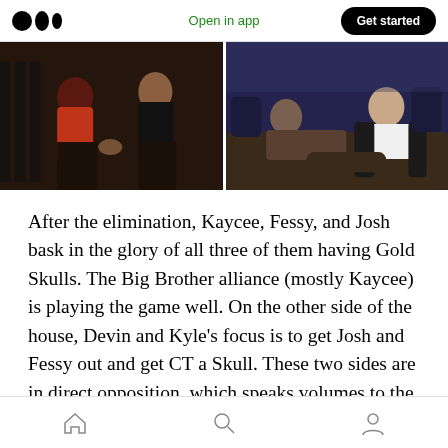Medium logo | Open in app | Get started
[Figure (photo): Two photos side by side: left shows two people seated indoors, one in a red top and one in black; right shows people lounging on a couch in a blue-lit room.]
After the elimination, Kaycee, Fessy, and Josh bask in the glory of all three of them having Gold Skulls. The Big Brother alliance (mostly Kaycee) is playing the game well. On the other side of the house, Devin and Kyle's focus is to get Josh and Fessy out and get CT a Skull. These two sides are in direct opposition, which speaks volumes to the
Home | Search | Profile